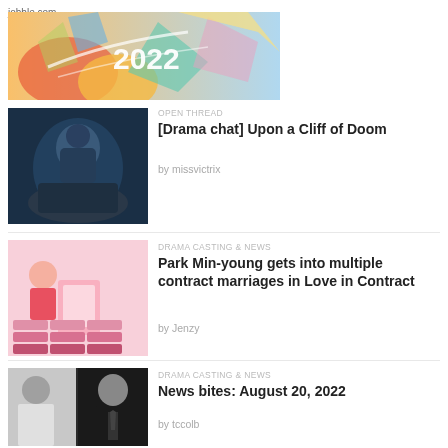jobble.com
[Figure (illustration): Colorful abstract banner image with the year 2022 displayed in white text, featuring geometric colorful shapes on a warm gradient background]
OPEN THREAD
[Drama chat] Upon a Cliff of Doom
by missvictrix
DRAMA CASTING & NEWS
Park Min-young gets into multiple contract marriages in Love in Contract
by Jenzy
DRAMA CASTING & NEWS
News bites: August 20, 2022
by tccolb